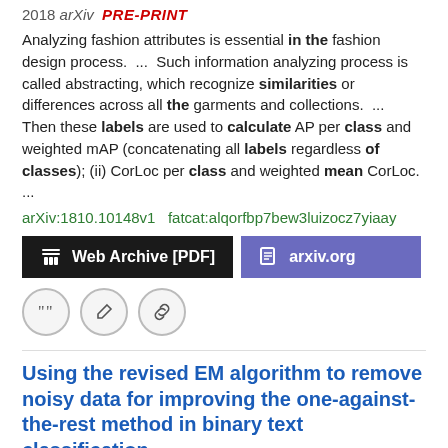2018 arXiv  PRE-PRINT
Analyzing fashion attributes is essential in the fashion design process.  ...  Such information analyzing process is called abstracting, which recognize similarities or differences across all the garments and collections.  ...  Then these labels are used to calculate AP per class and weighted mAP (concatenating all labels regardless of classes); (ii) CorLoc per class and weighted mean CorLoc.  ...
arXiv:1810.10148v1   fatcat:alqorfbp7bew3luizocz7yiaay
[Figure (other): Two buttons: 'Web Archive [PDF]' (black) and 'arxiv.org' (purple), plus three icon circles (quote, edit, link)]
Using the revised EM algorithm to remove noisy data for improving the one-against-the-rest method in binary text classification
Hyoungdong Han, Youngjoong Ko, Jungyun Seo
2007 Information Processing & Management
But, this one-against-the-rest method has a problem. That is, the documents of a negative data set are not labeled manually, while those of a positive set are labeled by human. ...  The results of our